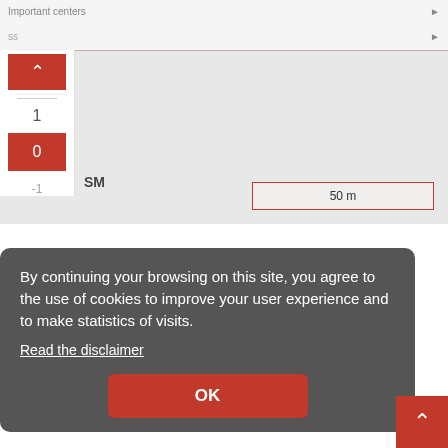[Figure (screenshot): Screenshot of a map application showing a floor plan with a floor level selector panel on the left (up button in red, levels 1 and 0 visible with 0 highlighted in red, -1 below), an SM label, and a scale bar showing 50 m. The map background is gray. There is a top bar with 'Important centers' label and an arrow, and a second bar with 'ss' text and arrow.]
By continuing your browsing on this site, you agree to the use of cookies to improve your user experience and to make statistics of visits.
Read the disclaimer
OK
In the set...
SDAM Advanced Manufacturing